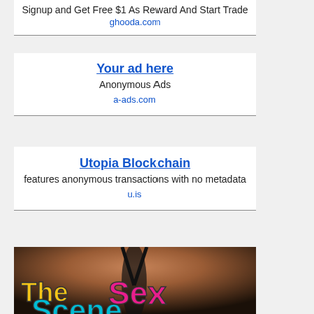Signup and Get Free $1 As Reward And Start Trade
ghooda.com
Your ad here
Anonymous Ads
a-ads.com
Utopia Blockchain
features anonymous transactions with no metadata
u.is
[Figure (photo): Photo with text overlay reading 'The Sex Scene' in bold colorful letters (yellow, pink, cyan) over a dark background with a person in a bikini]